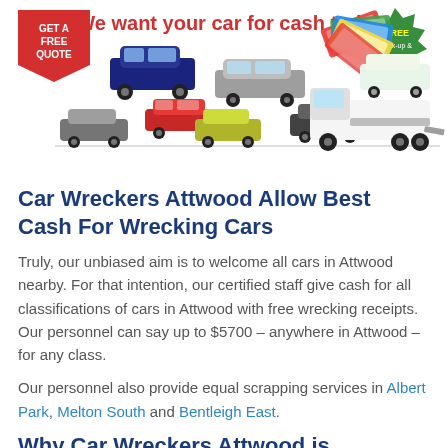[Figure (illustration): Advertising banner showing multiple cars, Australian cash banknotes, a tow truck with a car on it, a red tag saying 'GET A FREE QUOTE', text 'We want your car for cash today', and a green badge saying 'FREE Pick-up &'.]
Car Wreckers Attwood Allow Best Cash For Wrecking Cars
Truly, our unbiased aim is to welcome all cars in Attwood nearby. For that intention, our certified staff give cash for all classifications of cars in Attwood with free wrecking receipts. Our personnel can say up to $5700 – anywhere in Attwood – for any class.
Our personnel also provide equal scrapping services in Albert Park, Melton South and Bentleigh East.
Why Car Wreckers Attwood is